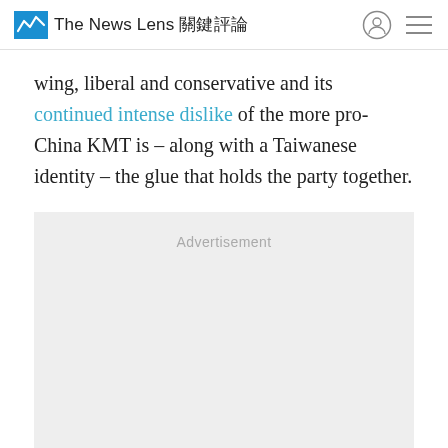The News Lens 關鍵評論
wing, liberal and conservative and its continued intense dislike of the more pro-China KMT is – along with a Taiwanese identity – the glue that holds the party together.
[Figure (other): Advertisement placeholder box with light gray background]